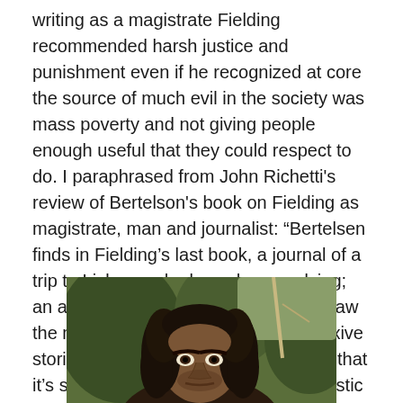writing as a magistrate Fielding recommended harsh justice and punishment even if he recognized at core the source of much evil in the society was mass poverty and not giving people enough useful that they could respect to do. I paraphrased from John Richetti's review of Bertelson's book on Fielding as magistrate, man and journalist: “Bertelsen finds in Fielding’s last book, a journal of a trip to Lisbon as he knew he was dying; an associational style so the way to draw the meaning is to look at the self-reflexive stories, contradictions, incongruities – that it’s spontaneous and at its best relativistic and free-wheeling.”
[Figure (photo): Photograph of a man with long curly dark hair and intense expression, appearing to be a historical or costumed figure, with foliage and what appears to be a staff or pole in the background.]